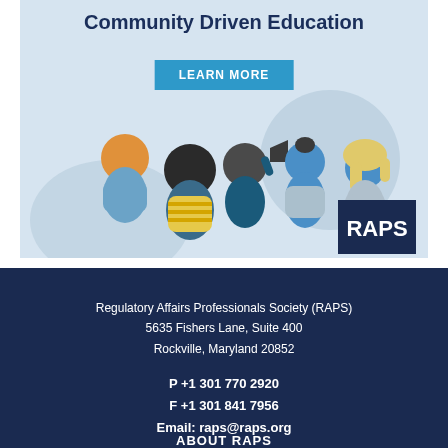[Figure (illustration): RAPS advertisement banner showing illustrated diverse group of people with text 'Community Driven Education' and a 'LEARN MORE' button on a light blue background, with RAPS logo in bottom right corner.]
Regulatory Affairs Professionals Society (RAPS)
5635 Fishers Lane, Suite 400
Rockville, Maryland 20852
P +1 301 770 2920
F +1 301 841 7956
Email: raps@raps.org
ABOUT RAPS